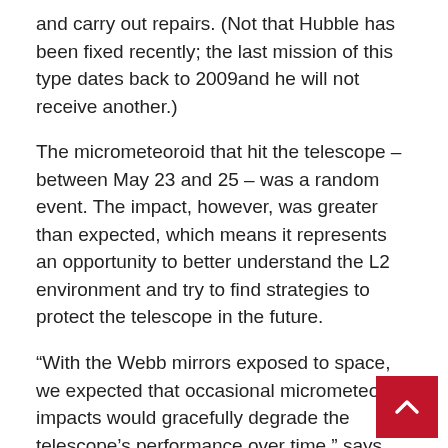and carry out repairs. (Not that Hubble has been fixed recently; the last mission of this type dates back to 2009and he will not receive another.)
The micrometeoroid that hit the telescope – between May 23 and 25 – was a random event. The impact, however, was greater than expected, which means it represents an opportunity to better understand the L2 environment and try to find strategies to protect the telescope in the future.
“With the Webb mirrors exposed to space, we expected that occasional micrometeoroid impacts would gracefully degrade the telescope’s performance over time,” says Lee Feinberg, Elements Manager for the Webb Optical Teles from NASA Goddard.